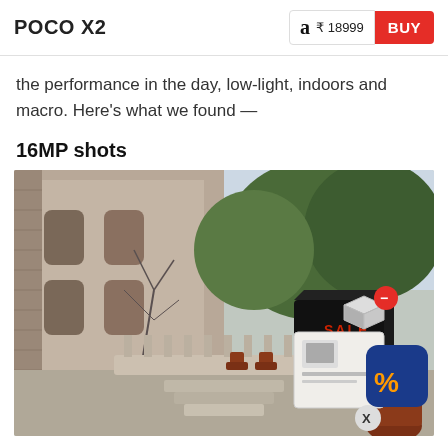POCO X2  ₹ 18999  BUY
the performance in the day, low-light, indoors and macro. Here's what we found —
16MP shots
[Figure (photo): Outdoor daytime photo showing an old dilapidated building on the left with peeling walls, bare tree branches, stone steps in the foreground, terracotta flower pots, and lush green trees on the right side. An advertisement overlay appears in the bottom-right corner of the image showing a product discount ad with a percentage badge and a black box with red text.]